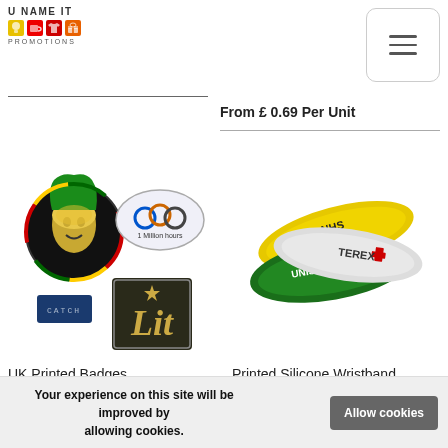[Figure (logo): U Name It Promotions logo with colorful icons (bulb, mug, t-shirt, gift) and brand name text]
[Figure (other): Hamburger menu button with three horizontal lines inside a rounded rectangle border]
From £ 0.69 Per Unit
[Figure (photo): Four custom printed badges: a round Bob Marley badge, an oval '1 Million Hours' badge, a small rectangular 'CATCH' badge, and a square 'Lit' badge]
[Figure (photo): Three printed silicone wristbands: yellow 'I love NHS', green 'UNISON Seve...', and white 'TEREX']
UK Printed Badges
Printed Silicone Wristband
Your experience on this site will be improved by allowing cookies.
Allow cookies